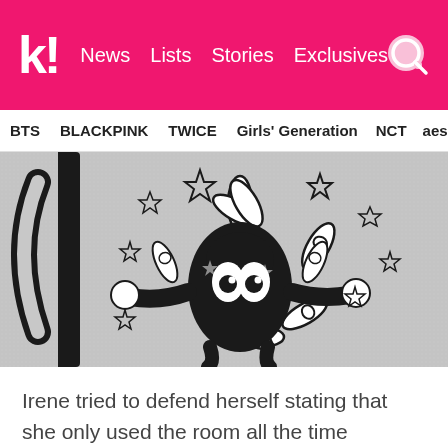k! News  Lists  Stories  Exclusives
BTS  BLACKPINK  TWICE  Girls' Generation  NCT  aespa
[Figure (photo): Close-up photo of a grey hoodie/sweatshirt with a black and white graphic print of a cartoon alien or creature character with large eyes, surrounded by bowling pin shapes and stars. The garment appears to be grey marled fabric.]
Irene tried to defend herself stating that she only used the room all the time because she wrote her name on the sheet to book it.